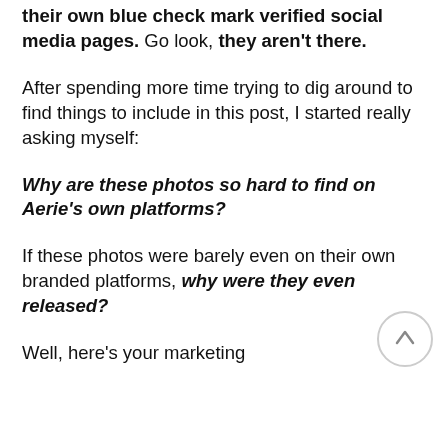their own blue check mark verified social media pages. Go look, they aren't there.
After spending more time trying to dig around to find things to include in this post, I started really asking myself:
Why are these photos so hard to find on Aerie's own platforms?
If these photos were barely even on their own branded platforms, why were they even released?
Well, here's your marketing